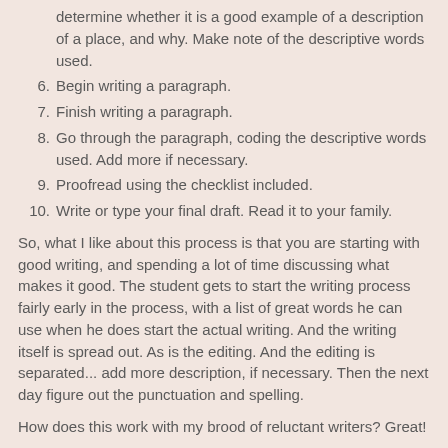determine whether it is a good example of a description of a place, and why.  Make note of the descriptive words used.
6. Begin writing a paragraph.
7. Finish writing a paragraph.
8. Go through the paragraph, coding the descriptive words used.  Add more if necessary.
9. Proofread using the checklist included.
10. Write or type your final draft.  Read it to your family.
So, what I like about this process is that you are starting with good writing, and spending a lot of time discussing what makes it good.  The student gets to start the writing process fairly early in the process, with a list of great words he can use when he does start the actual writing.  And the writing itself is spread out.  As is the editing.  And the editing is separated... add more description, if necessary.  Then the next day figure out the punctuation and spelling.
How does this work with my brood of reluctant writers?  Great!